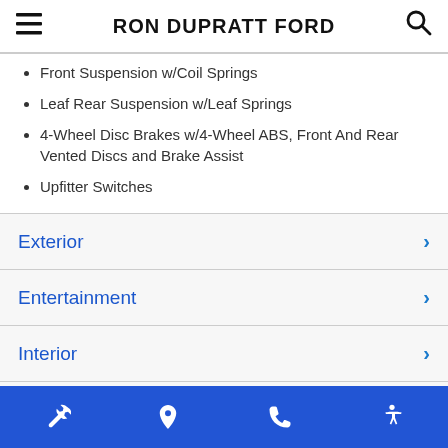RON DUPRATT FORD
Front Suspension w/Coil Springs
Leaf Rear Suspension w/Leaf Springs
4-Wheel Disc Brakes w/4-Wheel ABS, Front And Rear Vented Discs and Brake Assist
Upfitter Switches
Exterior
Entertainment
Interior
Safety